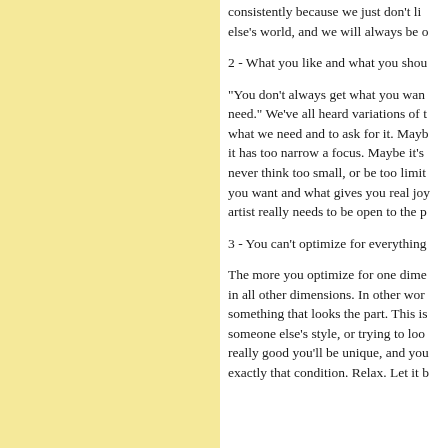consistently because we just don't live in someone else's world, and we will always be o
2 - What you like and what you shou
"You don't always get what you wan need." We've all heard variations of t what we need and to ask for it. Mayb it has too narrow a focus. Maybe it's never think too small, or be too limit you want and what gives you real jo artist really needs to be open to the p
3 - You can't optimize for everything
The more you optimize for one dime in all other dimensions. In other wor something that looks the part. This is someone else's style, or trying to loo really good you'll be unique, and you exactly that condition. Relax. Let it b